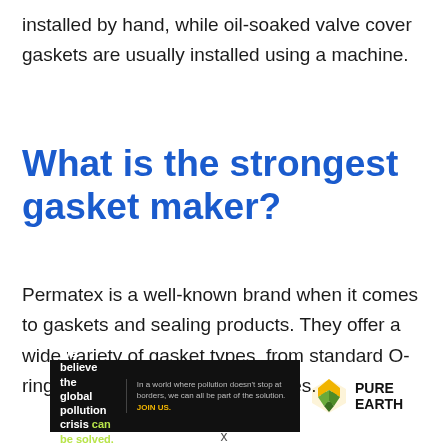installed by hand, while oil-soaked valve cover gaskets are usually installed using a machine.
What is the strongest gasket maker?
Permatex is a well-known brand when it comes to gaskets and sealing products. They offer a wide variety of gasket types, from standard O-ring gaskets to custom made ones.
[Figure (other): Advertisement banner for Pure Earth organization. Left dark portion reads 'We believe the global pollution crisis can be solved.' with 'can be solved.' in green. Middle text: 'In a world where pollution doesn't stop at borders, we can all be part of the solution. JOIN US.' Right portion shows Pure Earth logo with yellow/green diamond chevron icon and 'PURE EARTH' text.]
x